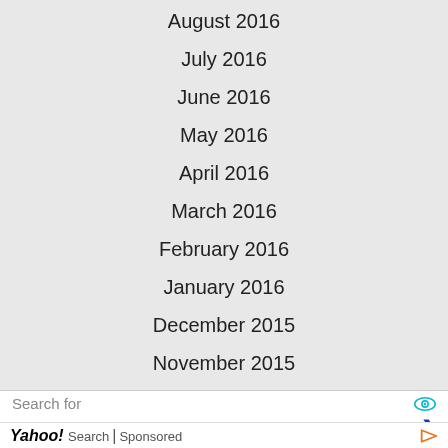August 2016
July 2016
June 2016
May 2016
April 2016
March 2016
February 2016
January 2016
December 2015
November 2015
October 2015
September 2015
August 2015
Search for
1. PRINTABLE RESIGNATION LETTERS
2. NURSING RESIGNATION LETTER
Yahoo! Search | Sponsored